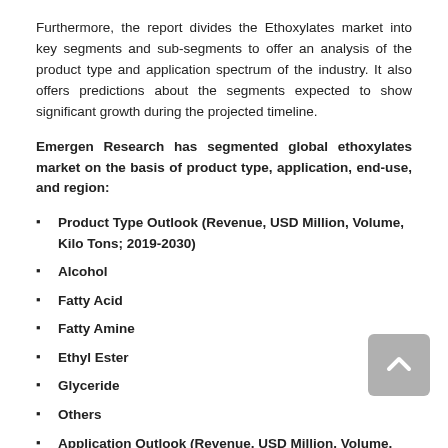Furthermore, the report divides the Ethoxylates market into key segments and sub-segments to offer an analysis of the product type and application spectrum of the industry. It also offers predictions about the segments expected to show significant growth during the projected timeline.
Emergen Research has segmented global ethoxylates market on the basis of product type, application, end-use, and region:
Product Type Outlook (Revenue, USD Million, Volume, Kilo Tons; 2019-2030)
Alcohol
Fatty Acid
Fatty Amine
Ethyl Ester
Glyceride
Others
Application Outlook (Revenue, USD Million, Volume, Kilo Tons; 2019-2030)
Detergents